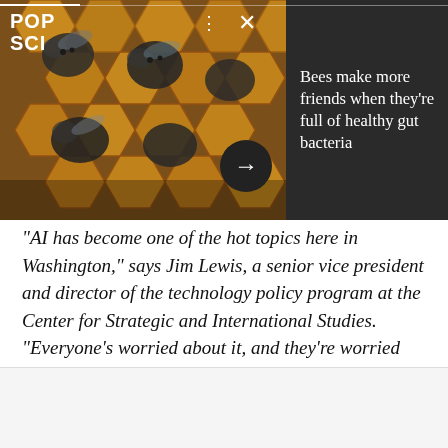[Figure (photo): Close-up photo of honeybees in honeycomb cells with PopSci logo overlay and navigation controls]
Bees make more friends when they're full of healthy gut bacteria
"AI has become one of the hot topics here in Washington," says Jim Lewis, a senior vice president and director of the technology policy program at the Center for Strategic and International Studies. "Everyone's worried about it, and they're worried about being in a race with China."
While an executive order promoting AI may generally